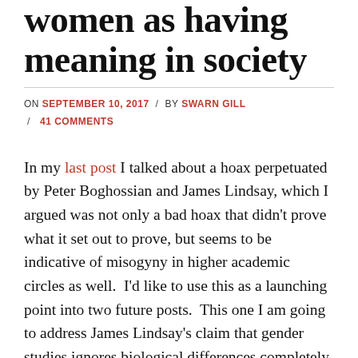women as having meaning in society
ON SEPTEMBER 10, 2017 / BY SWARN GILL / 41 COMMENTS
In my last post I talked about a hoax perpetuated by Peter Boghossian and James Lindsay, which I argued was not only a bad hoax that didn't prove what it set out to prove, but seems to be indicative of misogyny in higher academic circles as well.  I'd like to use this as a launching point into two future posts.  This one I am going to address James Lindsay's claim that gender studies ignores biological differences completely and